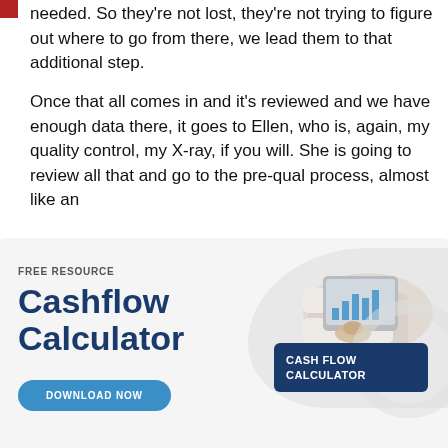needed. So they're not lost, they're not trying to figure out where to go from there, we lead them to that additional step.
Once that all comes in and it's reviewed and we have enough data there, it goes to Ellen, who is, again, my quality control, my X-ray, if you will. She is going to review all that and go to the pre-qual process, almost like an
[Figure (infographic): Advertisement banner for a free resource: Cashflow Calculator with a Download Now button, accompanied by a photo of hands using a tablet with charts, and a dark blue card labeled CASH FLOW CALCULATOR. A close button (×) and blue dot appear in the top right corner.]